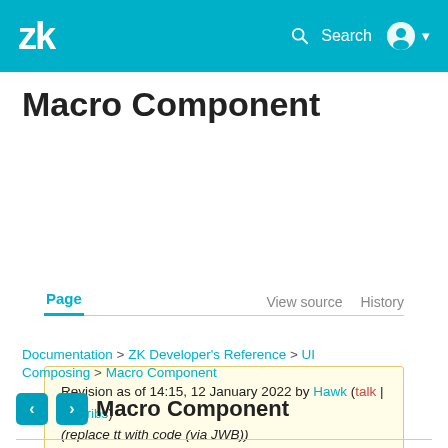ZK — Search [user icon]
Macro Component
Page   View source   History
Revision as of 14:15, 12 January 2022 by Hawk (talk | contribs) (replace tt with code (via JWB)) (diff) ← Older revision | Latest revision (diff) | Newer revision → (diff)
Documentation > ZK Developer's Reference > UI Composing > Macro Component
‹ › Macro Component